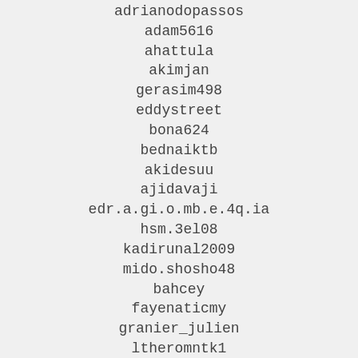adrianodopassos
adam5616
ahattula
akimjan
gerasim498
eddystreet
bona624
bednaiktb
akidesuu
ajidavaji
edr.a.gi.o.mb.e.4q.ia
hsm.3el08
kadirunal2009
mido.shosho48
bahcey
fayenaticmy
granier_julien
ltheromntk1
mariel2693
aso.deroche
jjay1323
crisnassif
851765812
marv12345
dizalan